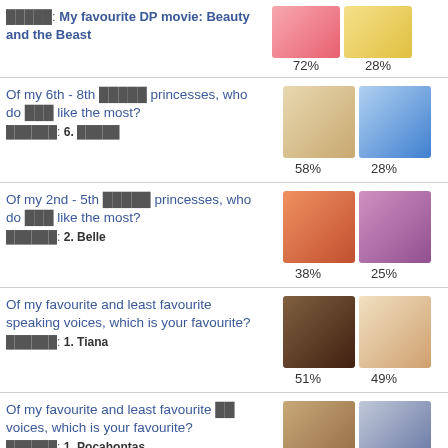My favourite DP movie: Beauty and the Beast | 72% | 28%
Of my 6th - 8th princesses, who do you like the most? Winner: 6. (garbled) | 58% | 28%
Of my 2nd - 5th princesses, who do you like the most? Winner: 2. Belle | 38% | 25%
Of my favourite and least favourite speaking voices, which is your favourite? Winner: 1. Tiana | 51% | 49%
Of my favourite and least favourite singing voices, which is your favourite? Winner: 1. Pocahontas | 73% | 27%